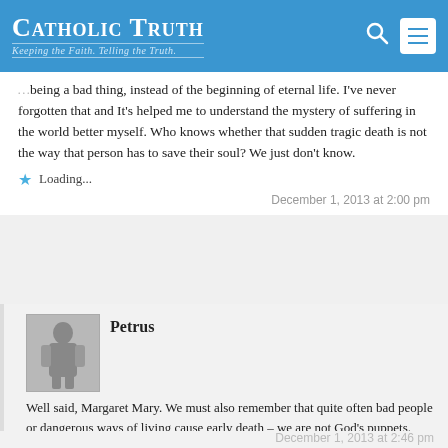Catholic Truth — Keeping the Faith. Telling the Truth.
…being a bad thing, instead of the beginning of eternal life. I've never forgotten that and It's helped me to understand the mystery of suffering in the world better myself. Who knows whether that sudden tragic death is not the way that person has to save their soul? We just don't know.
Loading...
December 1, 2013 at 2:00 pm
Petrus
Well said, Margaret Mary. We must also remember that quite often bad people or dangerous ways of living cause early death – we are not God's puppets.
Loading...
December 1, 2013 at 2:46 pm